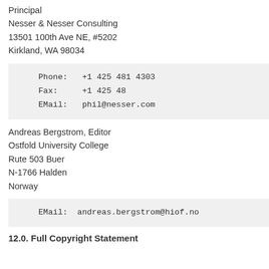Principal
Nesser & Nesser Consulting
13501 100th Ave NE, #5202
Kirkland, WA 98034
Phone:  +1 425 481 4303
Fax:    +1 425 48
EMail:  phil@nesser.com
Andreas Bergstrom, Editor
Ostfold University College
Rute 503 Buer
N-1766 Halden
Norway
EMail:  andreas.bergstrom@hiof.no
12.0. Full Copyright Statement